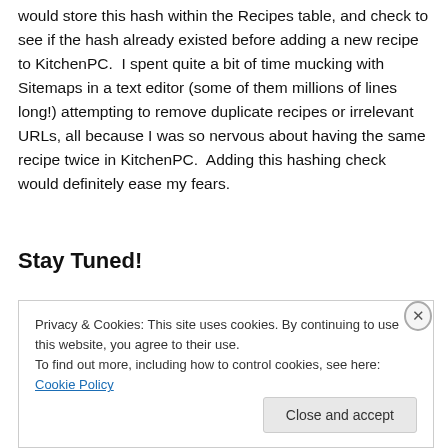would store this hash within the Recipes table, and check to see if the hash already existed before adding a new recipe to KitchenPC.  I spent quite a bit of time mucking with Sitemaps in a text editor (some of them millions of lines long!) attempting to remove duplicate recipes or irrelevant URLs, all because I was so nervous about having the same recipe twice in KitchenPC.  Adding this hashing check would definitely ease my fears.
Stay Tuned!
Privacy & Cookies: This site uses cookies. By continuing to use this website, you agree to their use.
To find out more, including how to control cookies, see here: Cookie Policy